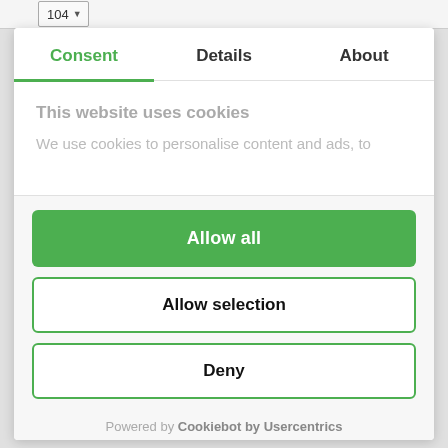104
Consent	Details	About
This website uses cookies
We use cookies to personalise content and ads, to
[Figure (other): Allow all button - green filled button]
[Figure (other): Allow selection button - outlined button]
[Figure (other): Deny button - outlined button]
Powered by Cookiebot by Usercentrics